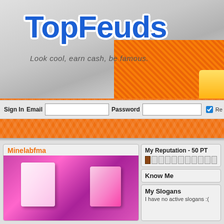[Figure (screenshot): TopFeuds website header with logo, tagline, orange textured navigation bars, sign-in bar with email and password fields]
TopFeuds
Look cool, earn cash, be famous.
Sign In  Email  Password  Re
Minelabfma
My Reputation - 50 PT
Know Me
My Slogans
I have no active slogans :(